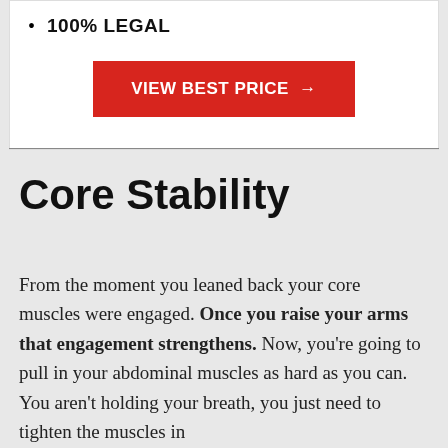100% LEGAL
VIEW BEST PRICE →
Core Stability
From the moment you leaned back your core muscles were engaged. Once you raise your arms that engagement strengthens. Now, you're going to pull in your abdominal muscles as hard as you can. You aren't holding your breath, you just need to tighten the muscles in